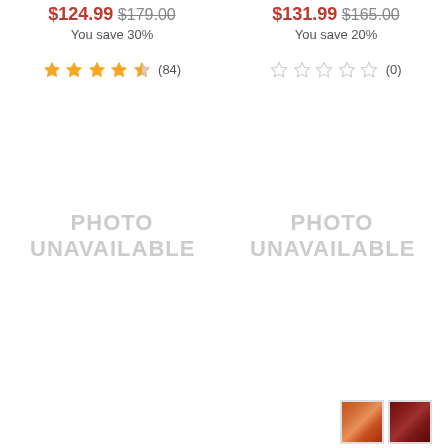$124.99 $179.00 You save 30%
★★★★½ (84)
[Figure (photo): Photo unavailable placeholder left]
$131.99 $165.00 You save 20%
☆☆☆☆☆ (0)
[Figure (photo): Photo unavailable placeholder right]
[Figure (photo): Two color swatches: orange and dark red]